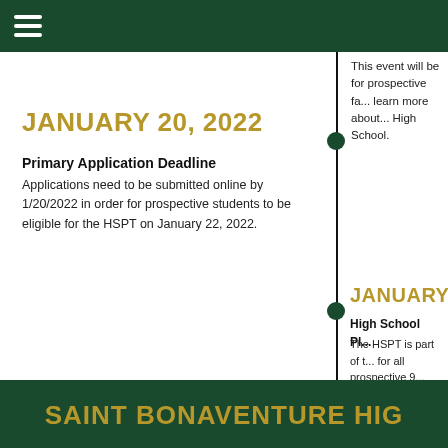Saint Bonaventure High School navigation header
This event will be for prospective fa... learn more about... High School.
JANUARY 20, 2022
Primary Application Deadline
Applications need to be submitted online by 1/20/2022 in order for prospective students to be eligible for the HSPT on January 22, 2022.
JANUARY
High School Pl...
The HSPT is part of t... for all prospective 9... Detailed testing info... parents who have ap...
SAINT BONAVENTURE HIG